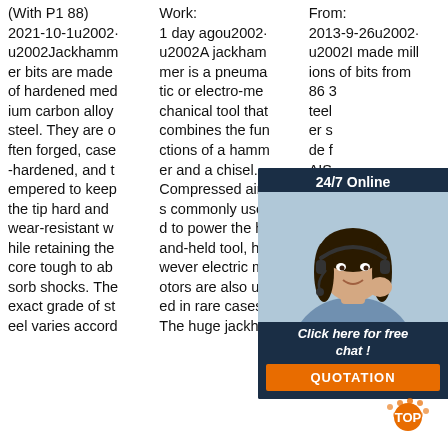(With P188) 2021-10-1u2002·u2002Jackhammer bits are made of hardened medium carbon alloy steel. They are often forged, case-hardened, and tempered to keep the tip hard and wear-resistant while retaining the core tough to absorb shocks. The exact grade of steel varies accord
Work: 1 day agou2002·u2002A jackhammer is a pneumatic or electro-mechanical tool that combines the functions of a hammer and a chisel. Compressed air is commonly used to power the hand-held tool, however electric motors are also used in rare cases. The huge jackha
From: 2013-9-26u2002·u2002I made millions of bits from 863... teel er s de f AIS clos hem rd r BTW: 'Jackhammer' bits have a hole down the center. Paving breakers sound exact
[Figure (other): Customer service chat overlay with agent photo, '24/7 Online' header, 'Click here for free chat!' text, and orange QUOTATION button]